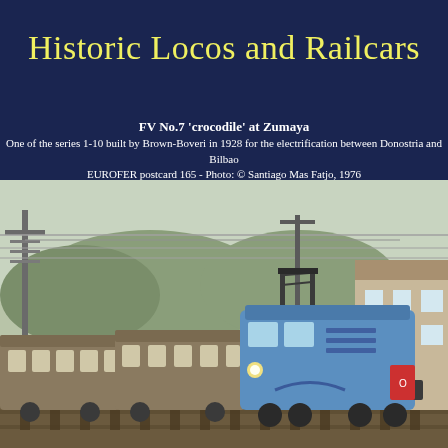Historic Locos and Railcars
FV No.7 'crocodile' at Zumaya
One of the series 1-10 built by Brown-Boveri in 1928 for the electrification between Donostria and Bilbao
EUROFER postcard 165 - Photo: © Santiago Mas Fatjo, 1976
[Figure (photo): A blue 'crocodile' electric locomotive number 7 pulling passenger railcars at Zumaya station, with overhead electric wires visible, photographed in 1976 by Santiago Mas Fatjo.]